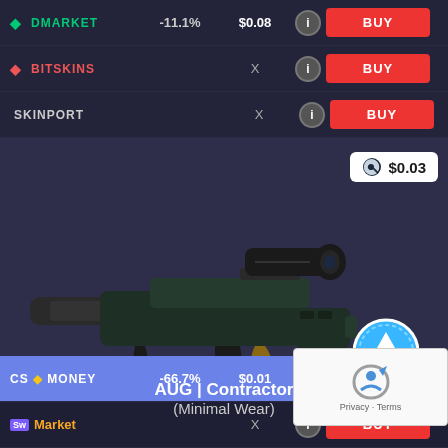| Platform | Discount | Price | Info | Action |
| --- | --- | --- | --- | --- |
| DMARKET | -11.1% | $0.08 | i | BUY |
| BITSKINS | X |  | i | BUY |
| SKINPORT | X |  | i | BUY |
[Figure (photo): CS:GO AUG | Contractor (Minimal Wear) skin render on dark background with Steam market price badge showing $0.03 and an up-arrow scroll button]
AUG | Contractor
(Minimal Wear)
| Platform | Discount | Price | Info | Action |
| --- | --- | --- | --- | --- |
| CS.MONEY | -66.7% | $0.01 | i | BUY |
| Sw Market | X |  | i | BUY |
[Figure (other): reCAPTCHA widget with Privacy and Terms links]